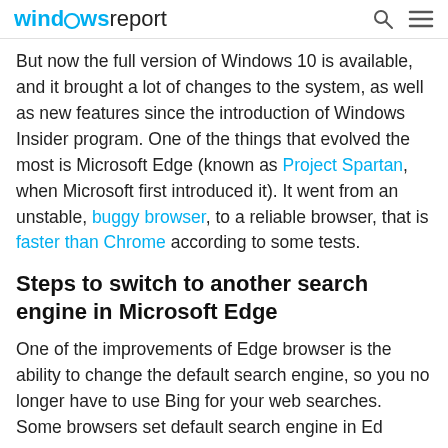windowsreport
But now the full version of Windows 10 is available, and it brought a lot of changes to the system, as well as new features since the introduction of Windows Insider program. One of the things that evolved the most is Microsoft Edge (known as Project Spartan, when Microsoft first introduced it). It went from an unstable, buggy browser, to a reliable browser, that is faster than Chrome according to some tests.
Steps to switch to another search engine in Microsoft Edge
One of the improvements of Edge browser is the ability to change the default search engine, so you no longer have to use Bing for your web searches. Some browsers set default search engine in Ed...